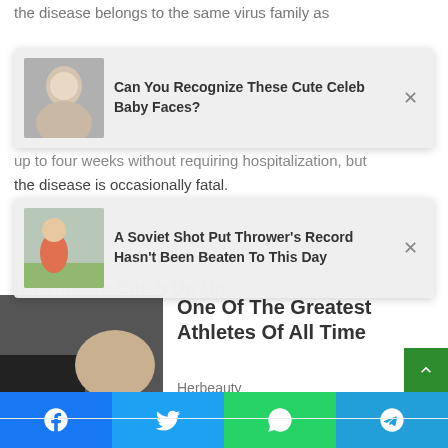the disease belongs to the same virus family as … up to four weeks without requiring hospitalization, but the disease is occasionally fatal.
[Figure (photo): Popup card with a baby photo thumbnail and title: Can You Recognize These Cute Celeb Baby Faces?]
[Figure (photo): Popup card with a boy throwing thumbnail and title: A Soviet Shot Put Thrower's Record Hasn't Been Beaten To This Day]
It's Time To Catch Up On
[Figure (photo): Article thumbnail image showing a woman and a car]
One Of The Greatest Athletes Of All Time
Herbeauty
[Figure (photo): Article thumbnail showing a glowing blue/purple dragonfly-like graphic on dark background]
Women Inventions Credited To Men: It's Not As Easy As It Looks
Brainberries